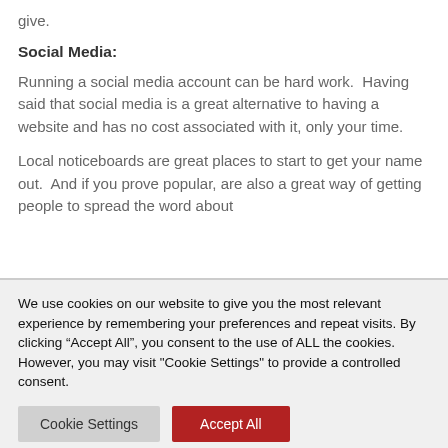give.
Social Media:
Running a social media account can be hard work.  Having said that social media is a great alternative to having a website and has no cost associated with it, only your time.
Local noticeboards are great places to start to get your name out.  And if you prove popular, are also a great way of getting people to spread the word about
We use cookies on our website to give you the most relevant experience by remembering your preferences and repeat visits. By clicking “Accept All”, you consent to the use of ALL the cookies. However, you may visit "Cookie Settings" to provide a controlled consent.